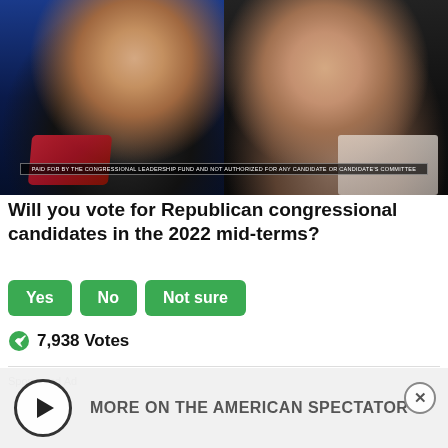[Figure (photo): Split photo: left side shows a man in dark suit with red tie speaking, right side shows a woman with brown hair smiling, both on dark backgrounds]
PAID FOR BY THE CONGRESSIONAL LEADERSHIP FUND AND NOT AUTHORIZED FOR ANY CANDIDATE OR CANDIDATE'S COMMITTEE
Will you vote for Republican congressional candidates in the 2022 mid-terms?
Yes
No
Not sure
7,938 Votes
Sponsored Ad
[Figure (screenshot): Video overlay with play button circle and text: MORE ON THE AMERICAN SPECTATOR, with an X close button]